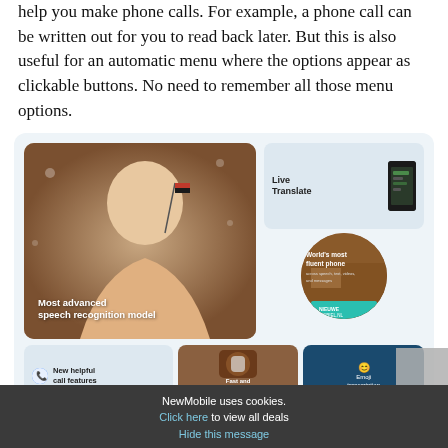help you make phone calls. For example, a phone call can be written out for you to read back later. But this is also useful for an automatic menu where the options appear as clickable buttons. No need to remember all those menu options.
[Figure (screenshot): Screenshot of a Google Pixel phone feature advertisement showing 'Most advanced speech recognition model', 'Live Translate', 'New helpful call features', 'Fast and accurate voice typing', 'Emoji transcription', and 'World's most fluent phone across speech, text, videos, and messages' with NIEUWE MOBIEL.NL branding.]
And if you are put on hold then you can just lay down Pixel and
NewMobile uses cookies.
Click here to view all deals
Hide this message